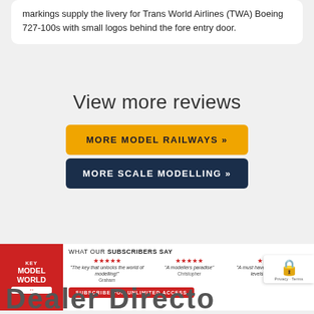markings supply the livery for Trans World Airlines (TWA) Boeing 727-100s with small logos behind the fore entry door.
View more reviews
MORE MODEL RAILWAYS »
MORE SCALE MODELLING »
[Figure (infographic): Key Model World advertisement banner with logo, subscriber quotes with 5-star ratings, and subscribe button]
Dealer Directory